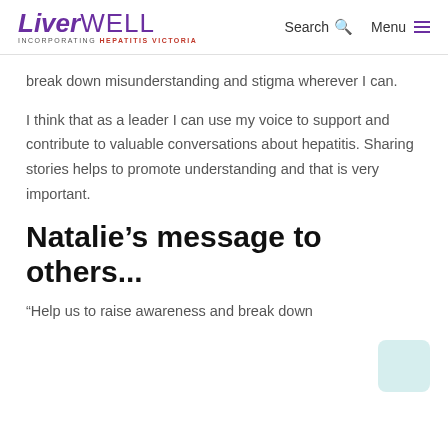LiverWELL Incorporating HEPATITIS VICTORIA | Search | Menu
break down misunderstanding and stigma wherever I can.
I think that as a leader I can use my voice to support and contribute to valuable conversations about hepatitis. Sharing stories helps to promote understanding and that is very important.
Natalie’s message to others...
“Help us to raise awareness and break down